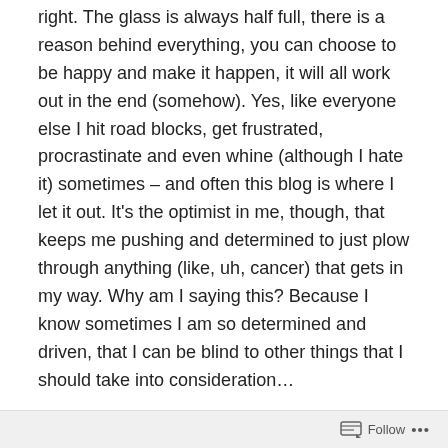right. The glass is always half full, there is a reason behind everything, you can choose to be happy and make it happen, it will all work out in the end (somehow). Yes, like everyone else I hit road blocks, get frustrated, procrastinate and even whine (although I hate it) sometimes – and often this blog is where I let it out. It's the optimist in me, though, that keeps me pushing and determined to just plow through anything (like, uh, cancer) that gets in my way. Why am I saying this? Because I know sometimes I am so determined and driven, that I can be blind to other things that I should take into consideration…

Today was week 3 of 12 weeks of Taxol, the second round of chemo. 25% there as Tara reminded me via text this morning. It went well. I remembered to take all my pre-
Follow